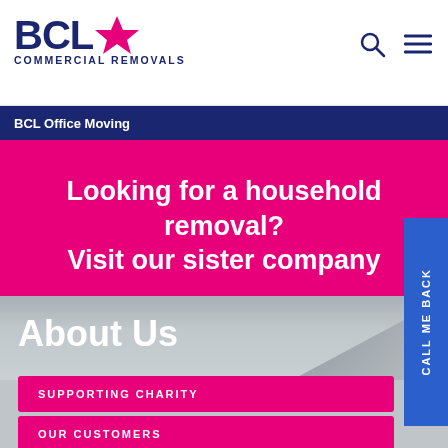BCL COMMERCIAL REMOVALS
BCL Office Moving
Looking for a household removal? Visit our sister company
GO TO HOUSEHOLD REMOVALS
About Us
SUPPORTING CHARITY
OUR CUSTOMERS